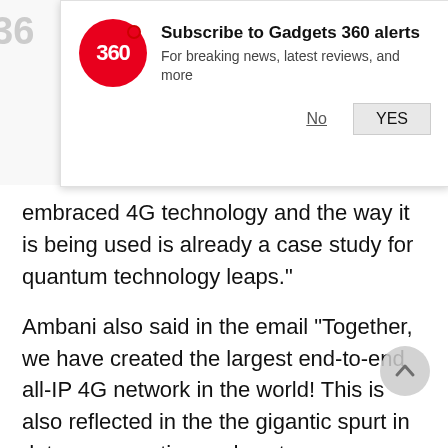[Figure (screenshot): Gadgets 360 push notification prompt with red circular logo showing '360', title 'Subscribe to Gadgets 360 alerts', subtitle 'For breaking news, latest reviews, and more', and No/YES buttons.]
embraced 4G technology and the way it is being used is already a case study for quantum technology leaps."
Ambani also said in the email "Together, we have created the largest end-to-end all-IP 4G network in the world! This is also reflected in the the gigantic spurt in data consumption and customer numbers on our network." Jio claims India's data consumption went from 20 crore GB to 120 crore GB in six months of its launch, and that it handles 250 crore minutes of voice calls daily.
The company presently has 130 million users on its